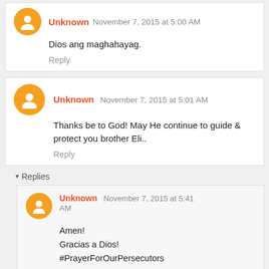Unknown November 7, 2015 at 5:00 AM
Dios ang maghahayag.
Reply
Unknown November 7, 2015 at 5:01 AM
Thanks be to God! May He continue to guide & protect you brother Eli..
Reply
Replies
Unknown November 7, 2015 at 5:41 AM
Amen!
Gracias a Dios!
#PrayerForOurPersecutors